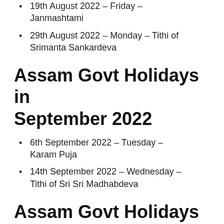19th August 2022 – Friday – Janmashtami
29th August 2022 – Monday – Tithi of Srimanta Sankardeva
Assam Govt Holidays in September 2022
6th September 2022 – Tuesday – Karam Puja
14th September 2022 – Wednesday – Tithi of Sri Sri Madhabdeva
Assam Govt Holidays in October 2022
2nd October 2022 – Sunday – Birthday